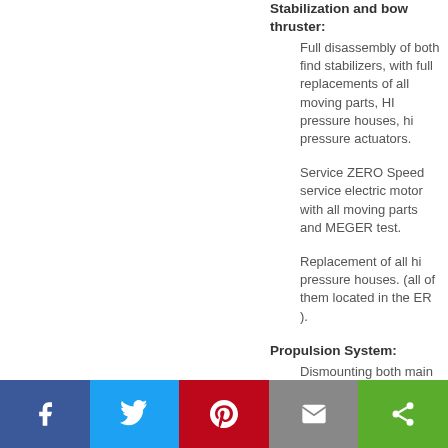Stabilization and bow thruster:
Full disassembly of both find stabilizers, with full replacements of all moving parts, HI pressure houses, hi pressure actuators.
Service ZERO Speed service electric motor with all moving parts and MEGER test.
Replacement of all hi pressure houses. (all of them located in the ER ).
Propulsion System:
Dismounting both main propulsion shafts, install new underwater rubber berings, services…
[Figure (infographic): Social sharing bar with Facebook, Twitter, Pinterest, Email, and Share buttons]